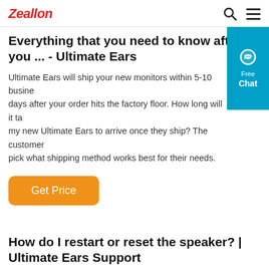Zeallon [search icon] [menu icon]
Everything that you need to know after you ... - Ultimate Ears
Ultimate Ears will ship your new monitors within 5-10 business days after your order hits the factory floor. How long will it take my new Ultimate Ears to arrive once they ship? The customer pick what shipping method works best for their needs.
[Figure (other): Blue chat widget with speech bubble icon, text reading 'Free Chat']
Get Price
How do I restart or reset the speaker? | Ultimate Ears Support
Press the Volume " – " and Power buttons simultaneously and hold for at least six seconds. You'll hear a tone that indicates the reset was done and your speaker then should turn off. This reset will